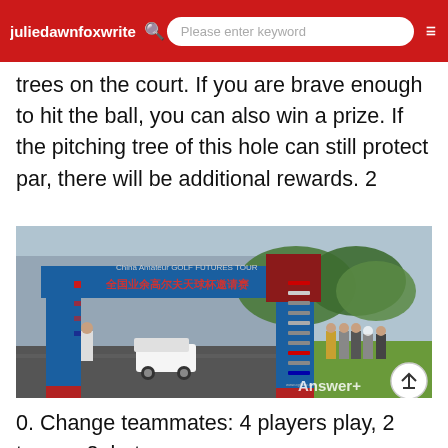juliedawnfoxwrite  Please enter keyword
trees on the court. If you are brave enough to hit the ball, you can also win a prize. If the pitching tree of this hole can still protect par, there will be additional rewards. 2
[Figure (photo): A blue sponsor archway/gate at a golf course entrance with Chinese text, a golf cart parked nearby, trees in background, and a group of people standing on the right side of the frame. Red base pillars visible.]
0. Change teammates: 4 players play, 2 teams, 2, but